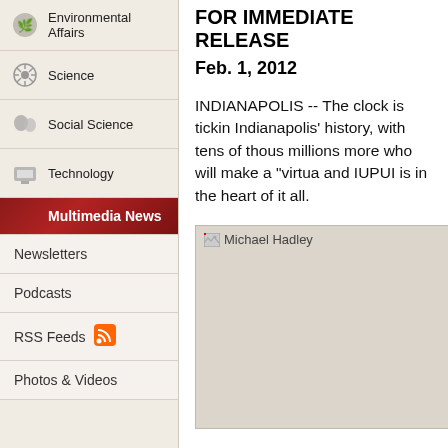Environmental Affairs
Science
Social Science
Technology
Multimedia News
Newsletters
Podcasts
RSS Feeds
Photos & Videos
FOR IMMEDIATE RELEASE
Feb. 1, 2012
INDIANAPOLIS -- The clock is tickin... Indianapolis' history, with tens of thous... millions more who will make a "virtua... and IUPUI is in the heart of it all.
[Figure (photo): Michael Hadley - broken image placeholder]